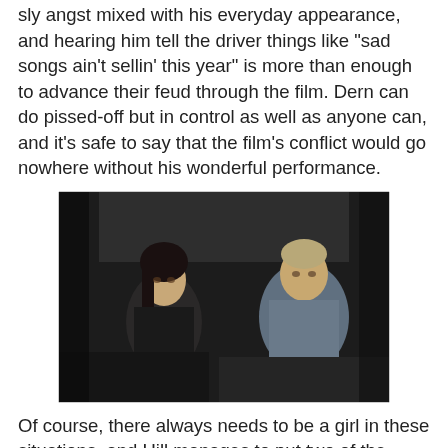sly angst mixed with his everyday appearance, and hearing him tell the driver things like "sad songs ain't sellin' this year" is more than enough to advance their feud through the film. Dern can do pissed-off but in control as well as anyone can, and it's safe to say that the film's conflict would go nowhere without his wonderful performance.
[Figure (photo): A dark, moody film still showing two people sitting in a car. On the left is a woman with dark hair wearing dark clothing, and on the right is a man in a light-colored jacket. The scene appears to be from a film set inside a vintage vehicle.]
Of course, there always needs to be a girl in these situations, and Hill manages to put two of the most attention grabbing female performers of the era into the mix here. The stunning Isabelle Adjani, with her dark hair and eyes the size of Kansas, is what the credits refer to as The Player, while Ronee Blakely - known to most horror fans for her drunkenly fascinating performance in A Nightmare on Elm Street - is The Connection. Adjani gets plenty of screen time as the kind of yin to the driver's kind of yang, while Blakely's